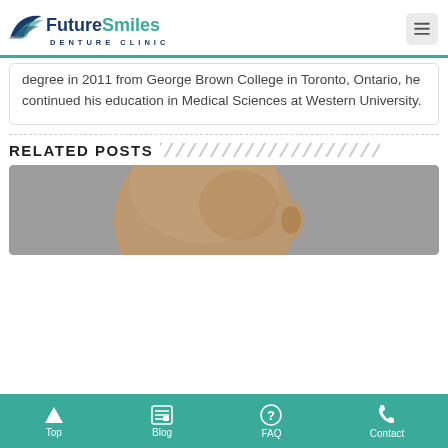Future Smiles Denture Clinic
degree in 2011 from George Brown College in Toronto, Ontario, he continued his education in Medical Sciences at Western University.
RELATED POSTS
[Figure (photo): Back of a bald man's head against a grey background]
Top | Blog | FAQ | Contact